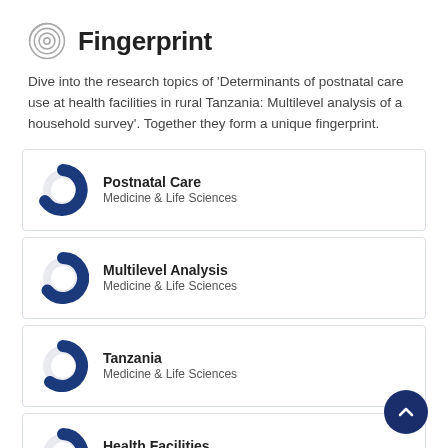Fingerprint
Dive into the research topics of 'Determinants of postnatal care use at health facilities in rural Tanzania: Multilevel analysis of a household survey'. Together they form a unique fingerprint.
Postnatal Care — Medicine & Life Sciences
Multilevel Analysis — Medicine & Life Sciences
Tanzania — Medicine & Life Sciences
Health Facilities — Medicine & Life Sciences